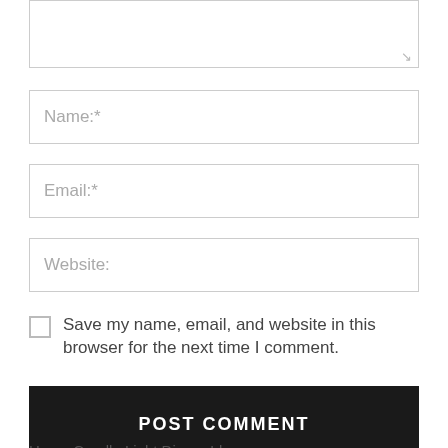[Figure (screenshot): Textarea input box (partially visible, top cut off) with resize handle at bottom right]
Name:*
Email:*
Website:
Save my name, email, and website in this browser for the next time I comment.
POST COMMENT
Home Candle Light Dinner Ideas